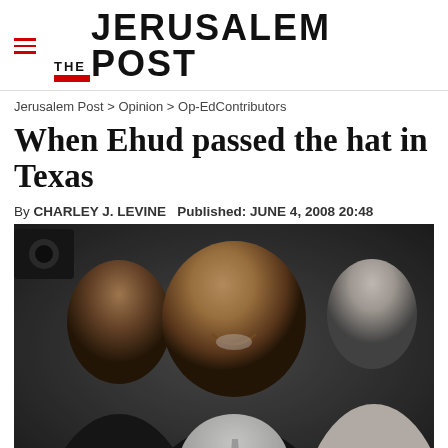THE JERUSALEM POST
Jerusalem Post > Opinion > Op-EdContributors
When Ehud passed the hat in Texas
By CHARLEY J. LEVINE   Published: JUNE 4, 2008 20:48
[Figure (photo): A smiling man in a dark suit and light tie, surrounded by other people, in what appears to be a crowded indoor setting.]
Advertisement